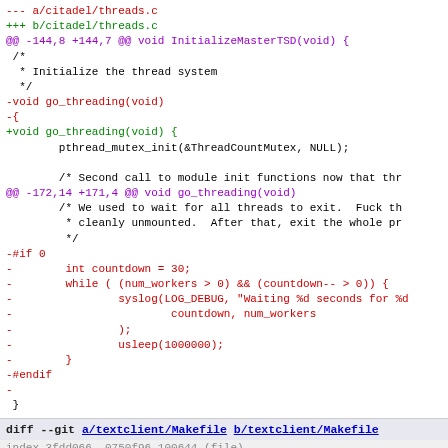[Figure (screenshot): A unified diff view (git diff) of citadel/threads.c and textclient/Makefile, showing removed lines in red, added lines in green, hunk headers in purple, and context lines in black. The diff shows refactoring of go_threading function and removal of a countdown loop guarded by #if 0.]